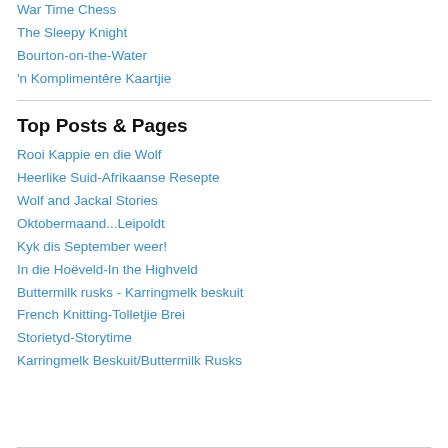War Time Chess
The Sleepy Knight
Bourton-on-the-Water
'n Komplimentêre Kaartjie
Top Posts & Pages
Rooi Kappie en die Wolf
Heerlike Suid-Afrikaanse Resepte
Wolf and Jackal Stories
Oktobermaand...Leipoldt
Kyk dis September weer!
In die Hoëveld-In the Highveld
Buttermilk rusks - Karringmelk beskuit
French Knitting-Tolletjie Brei
Storietyd-Storytime
Karringmelk Beskuit/Buttermilk Rusks